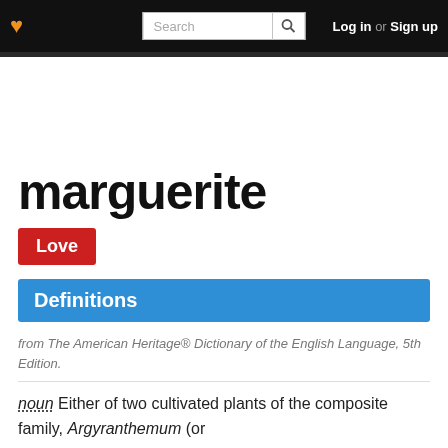♥ [Search bar] Log in or Sign up
marguerite
Love
Definitions
from The American Heritage® Dictionary of the English Language, 5th Edition.
noun Either of two cultivated plants of the composite family, Argyranthemum (or